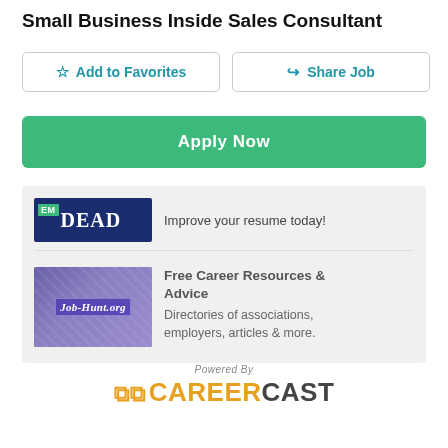Small Business Inside Sales Consultant
[Figure (screenshot): Two buttons: 'Add to Favorites' (star icon, outlined) and 'Share Job' (share icon, outlined)]
[Figure (screenshot): Green 'Apply Now' button]
[Figure (screenshot): Ad box with EM Dead logo and text 'Improve your resume today!', and Job-Hunt.org logo with text 'Free Career Resources & Advice - Directories of associations, employers, articles & more.']
[Figure (logo): Powered By CAREERCAST logo with orange wifi/signal icon]